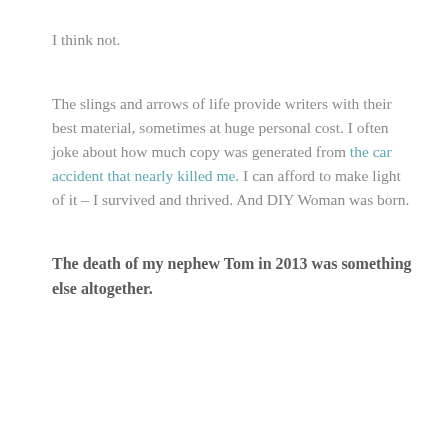I think not.
The slings and arrows of life provide writers with their best material, sometimes at huge personal cost. I often joke about how much copy was generated from the car accident that nearly killed me. I can afford to make light of it – I survived and thrived. And DIY Woman was born.
The death of my nephew Tom in 2013 was something else altogether.